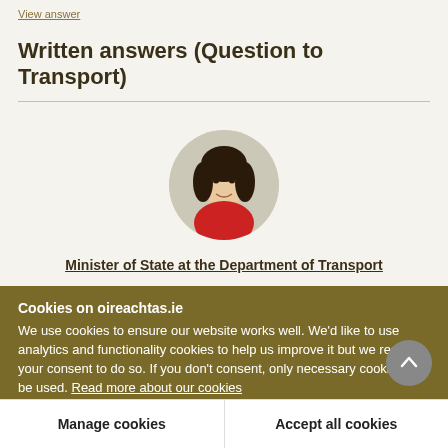View answer
Written answers (Question to Transport)
[Figure (photo): Circular portrait photo of a woman with dark hair wearing a red top, against a light background]
Minister of State at the Department of Transport
Cookies on oireachtas.ie
We use cookies to ensure our website works well. We'd like to use analytics and functionality cookies to help us improve it but we require your consent to do so. If you don't consent, only necessary cookies will be used. Read more about our cookies
Manage cookies
Accept all cookies